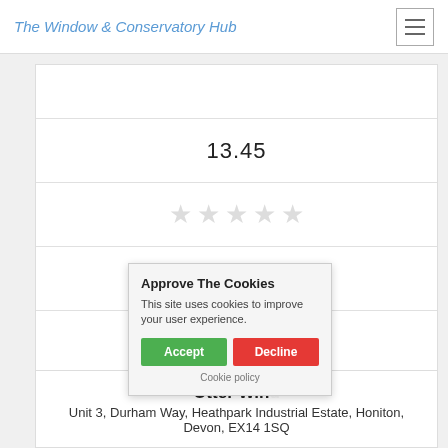The Window & Conservatory Hub
13.45
[Figure (other): Five empty star rating icons in grey]
[Figure (other): Empty checkbox square]
Get a Quote
Approve The Cookies
This site uses cookies to improve your user experience.
Accept | Decline
Cookie policy
Otter Wind...
Unit 3, Durham Way, Heathpark Industrial Estate, Honiton, Devon, EX14 1SQ